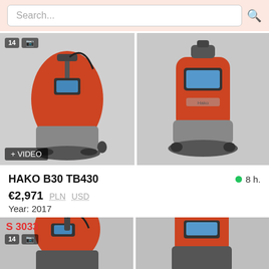Search...
[Figure (photo): Floor scrubber machine HAKO B30 TB430, side view, orange and gray, with VIDEO badge]
[Figure (photo): Floor scrubber machine HAKO B30 TB430, front view, orange and gray]
HAKO B30 TB430
8 h.
€2,971  PLN  USD
Year: 2017
Poland, Brzesko
S 3033
[Figure (photo): Floor scrubber machine, side view, orange and dark gray, partial view at bottom]
[Figure (photo): Floor scrubber machine, front view, orange and dark gray, partial view at bottom]